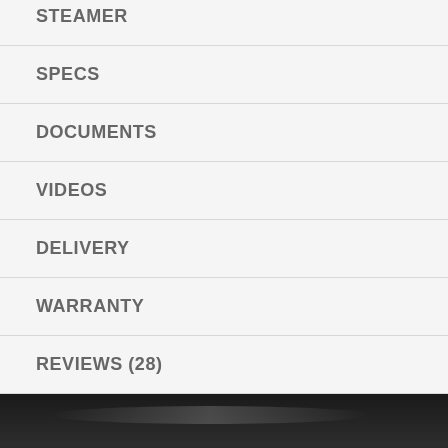STEAMER
SPECS
DOCUMENTS
VIDEOS
DELIVERY
WARRANTY
REVIEWS (28)
[Figure (photo): Bottom portion of a product page showing a dark/black oven or appliance photo with a scroll-to-top button overlay in the bottom right corner]